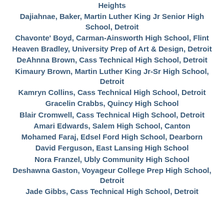Heights
Dajiahnae, Baker, Martin Luther King Jr Senior High School, Detroit
Chavonte' Boyd, Carman-Ainsworth High School, Flint
Heaven Bradley, University Prep of Art & Design, Detroit
DeAhnna Brown, Cass Technical High School, Detroit
Kimaury Brown, Martin Luther King Jr-Sr High School, Detroit
Kamryn Collins, Cass Technical High School, Detroit
Gracelin Crabbs, Quincy High School
Blair Cromwell, Cass Technical High School, Detroit
Amari Edwards, Salem High School, Canton
Mohamed Faraj, Edsel Ford High School, Dearborn
David Ferguson, East Lansing High School
Nora Franzel, Ubly Community High School
Deshawna Gaston, Voyageur College Prep High School, Detroit
Jade Gibbs, Cass Technical High School, Detroit